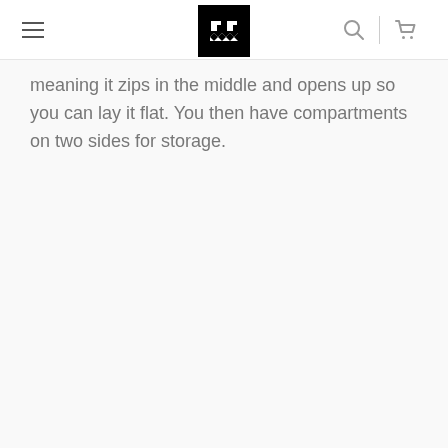[Logo] [Search] [Cart]
meaning it zips in the middle and opens up so you can lay it flat. You then have compartments on two sides for storage.